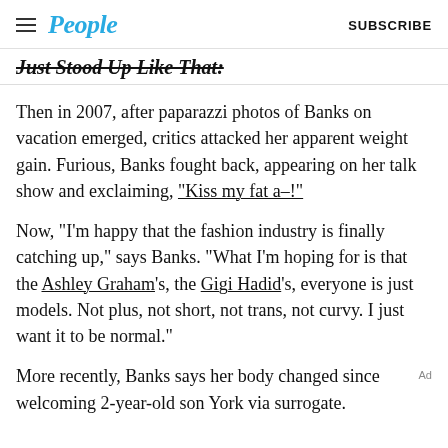People | SUBSCRIBE
Just Stood Up Like That:
Then in 2007, after paparazzi photos of Banks on vacation emerged, critics attacked her apparent weight gain. Furious, Banks fought back, appearing on her talk show and exclaiming, “Kiss my fat a–!”
Now, “I’m happy that the fashion industry is finally catching up,” says Banks. “What I’m hoping for is that the Ashley Graham’s, the Gigi Hadid’s, everyone is just models. Not plus, not short, not trans, not curvy. I just want it to be normal.”
More recently, Banks says her body changed since welcoming 2-year-old son York via surrogate.